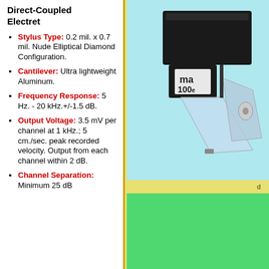Direct-Coupled Electret
Stylus Type: 0.2 mil. x 0.7 mil. Nude Elliptical Diamond Configuration.
Cantilever: Ultra lightweight Aluminum.
Frequency Response: 5 Hz. - 20 kHz.+/-1.5 dB.
Output Voltage: 3.5 mV per channel at 1 kHz.; 5 cm./sec. peak recorded velocity. Output from each channel within 2 dB.
Channel Separation: Minimum 25 dB
[Figure (photo): Photo of a phono cartridge labeled 'ma 100e' with a transparent stylus assembly on a light blue background]
d